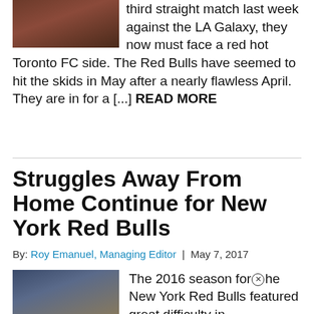[Figure (photo): Sports action photo showing football/soccer players, cropped at top]
third straight match last week against the LA Galaxy, they now must face a red hot Toronto FC side. The Red Bulls have seemed to hit the skids in May after a nearly flawless April. They are in for a [...] READ MORE
Struggles Away From Home Continue for New York Red Bulls
By: Roy Emanuel, Managing Editor | May 7, 2017
[Figure (photo): Photo of a man in a suit standing on a sports field with blurred crowd background]
The 2016 season for the New York Red Bulls featured great difficulty in